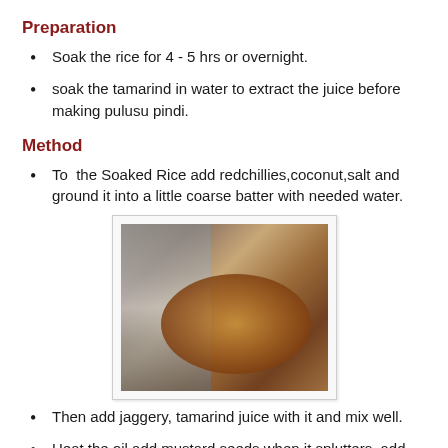Preparation
Soak the rice for 4 - 5 hrs or overnight.
soak the tamarind in water to extract the juice before making pulusu pindi.
Method
To  the Soaked Rice add redchillies,coconut,salt and ground it into a little coarse batter with needed water.
[Figure (photo): Kitchen photo showing a cooking pot with tamarind juice/batter on a stove, with a rolled item (idiyappam press/cloth) visible on the left side and some ingredients in the background.]
Then add jaggery, tamarind juice with it and mix well.
Heat the oil add mustard seeds when it splutters, add channa